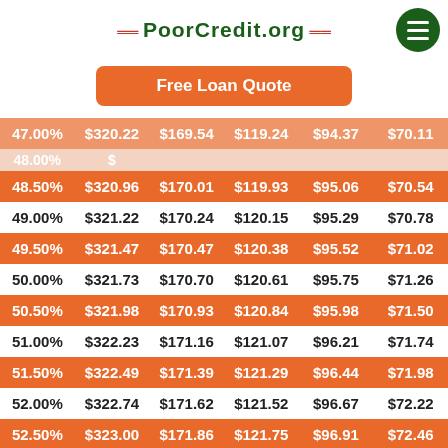PoorCredit.org
Free Loan Quote
| Rate | Col2 | Col3 | Col4 | Col5 | Col6 |
| --- | --- | --- | --- | --- | --- |
| 48.50% | $320.96 | $170.01 | $119.93 | $95.06 | $70.54 |
| 49.00% | $321.22 | $170.24 | $120.15 | $95.29 | $70.78 |
| 49.50% | $321.47 | $170.47 | $120.38 | $95.52 | $71.02 |
| 50.00% | $321.73 | $170.70 | $120.61 | $95.75 | $71.26 |
| 50.50% | $321.98 | $170.93 | $120.84 | $95.98 | $71.50 |
| 51.00% | $322.23 | $171.16 | $121.07 | $96.21 | $71.74 |
| 51.50% | $322.49 | $171.39 | $121.29 | $96.44 | $71.98 |
| 52.00% | $322.74 | $171.62 | $121.52 | $96.67 | $72.22 |
| 52.50% | $323.00 | $171.86 | $121.75 | $96.91 | $72.46 |
| 53.00% | $323.25 | $172.09 | $121.98 | $97.14 | $72.71 |
| 53.50% | $323.50 | $172.32 | $122.21 | $97.37 | $72.95 |
| 54.00% | $323.76 | $172.55 | $122.44 | $97.60 | $73.19 |